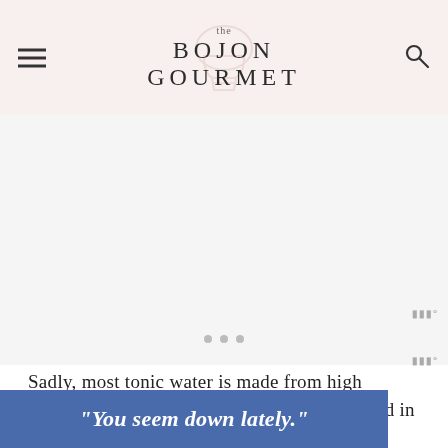the BOJON GOURMET
[Figure (screenshot): Advertisement placeholder area with three slider dots and Mediavine badge]
Sadly, most tonic water is made from high fructose corn syrup and can only be purchased in
[Figure (other): Blue advertisement overlay banner with text: "You seem down lately."]